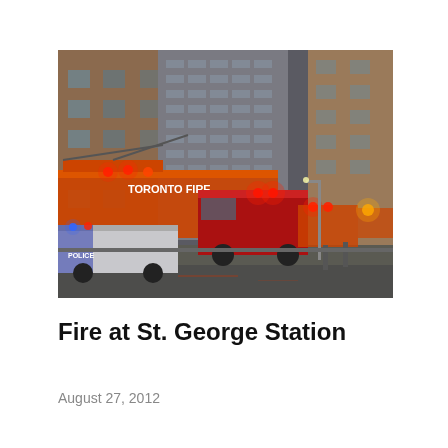[Figure (photo): Outdoor urban scene showing Toronto Fire Service trucks and emergency vehicles including a red van and a police car on a wet city street, with tall brick and concrete apartment buildings in the background. The fire truck prominently displays 'TORONTO FIRE' on its side.]
Fire at St. George Station
August 27, 2012